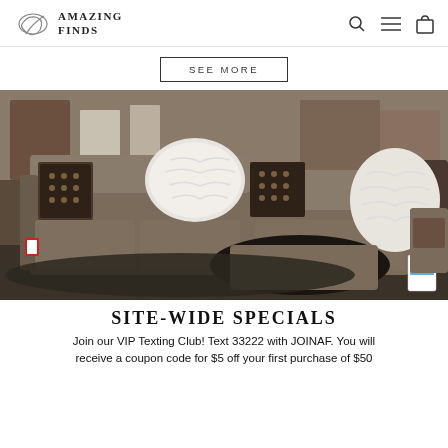AMAZING FINDS
SEE MORE
[Figure (photo): Showroom photo of a large taupe/brown sectional sofa with decorative pillows including white faux fur, patterned, and black fur throws, displayed in a furniture store setting with other furniture visible in the background.]
SITE-WIDE SPECIALS
Join our VIP Texting Club! Text 33222 with JOINAF. You will receive a coupon code for $5 off your first purchase of $50